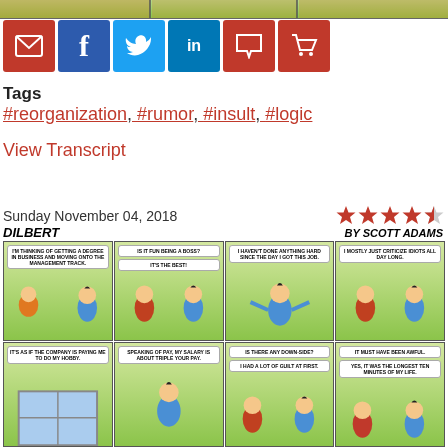[Figure (illustration): Top cropped comic strip panels]
[Figure (other): Social media share buttons: email (red), facebook (blue), twitter (light blue), linkedin (dark blue), comment (red), cart (red)]
Tags
#reorganization, #rumor, #insult, #logic
View Transcript
Sunday November 04, 2018
[Figure (other): 4.5 star rating in red stars]
[Figure (illustration): Dilbert comic strip by Scott Adams dated Sunday November 04, 2018. Eight panels showing Dilbert talking to the Pointy-Haired Boss about getting a business degree and management. Boss says being a boss is fun, he mostly criticizes idiots all day, company pays him to do his hobby, his salary is triple Dilbert's pay. Dilbert asks if there's a downside. Boss says there was a lot of guilt at first. It must have been awful. Yes, it was the longest ten minutes of my life.]